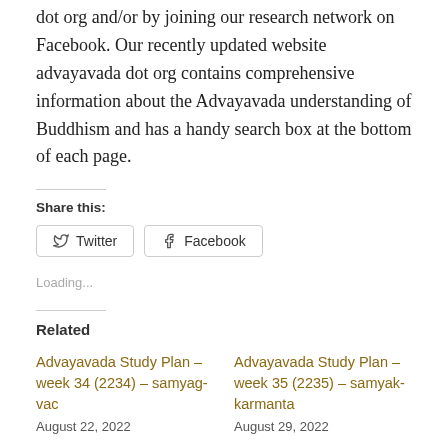dot org and/or by joining our research network on Facebook. Our recently updated website advayavada dot org contains comprehensive information about the Advayavada understanding of Buddhism and has a handy search box at the bottom of each page.
Share this:
Twitter  Facebook
Loading...
Related
Advayavada Study Plan – week 34 (2234) – samyag-vac
August 22, 2022
Advayavada Study Plan – week 35 (2235) – samyak-karmanta
August 29, 2022